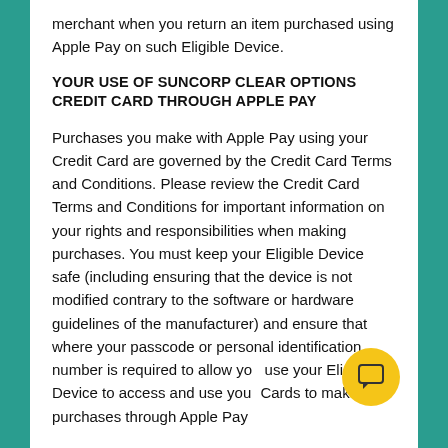merchant when you return an item purchased using Apple Pay on such Eligible Device.
YOUR USE OF SUNCORP CLEAR OPTIONS CREDIT CARD THROUGH APPLE PAY
Purchases you make with Apple Pay using your Credit Card are governed by the Credit Card Terms and Conditions. Please review the Credit Card Terms and Conditions for important information on your rights and responsibilities when making purchases. You must keep your Eligible Device safe (including ensuring that the device is not modified contrary to the software or hardware guidelines of the manufacturer) and ensure that where your passcode or personal identification number is required to allow you use your Eligible Device to access and use your Cards to make purchases through Apple Pay